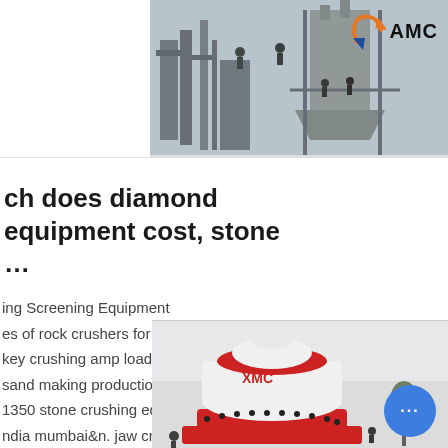[Figure (photo): Industrial stone crushing plant with machinery and workers visible in the background, with AMC logo in upper right corner]
ch does diamond equipment cost, stone ...
ing Screening Equipment
es of rock crushers for sale
key crushing amp loading plant
sand making production line
1350 stone crushing equipment
ndia mumbai&n. jaw crusher ...
[Figure (photo): Red and white cone crusher machine with people near it and a chat button overlay in the bottom right]